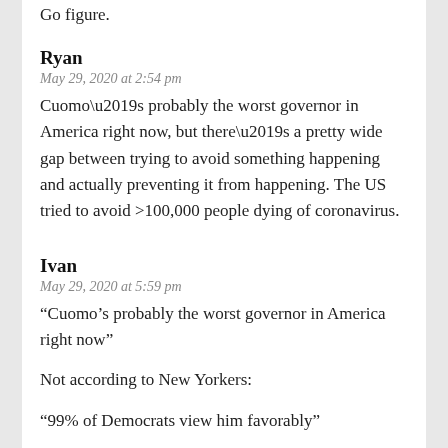Go figure.
Ryan
May 29, 2020 at 2:54 pm
Cuomo’s probably the worst governor in America right now, but there’s a pretty wide gap between trying to avoid something happening and actually preventing it from happening. The US tried to avoid >100,000 people dying of coronavirus.
Ivan
May 29, 2020 at 5:59 pm
“Cuomo’s probably the worst governor in America right now”

Not according to New Yorkers:
“99% of Democrats view him favorably”